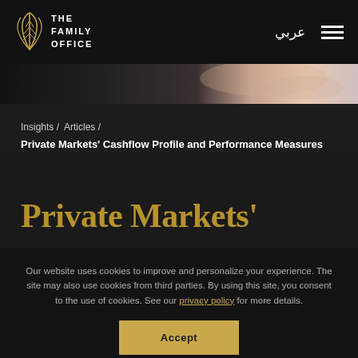[Figure (logo): The Family Office logo with stylized leaf/feather icon and text THE FAMILY OFFICE in white on dark background]
[Figure (photo): Hero image strip showing soft abstract light tones - black, grey, peach/pink gradient]
Insights / Articles / Private Markets' Cashflow Profile and Performance Measures
Private Markets'
Our website uses cookies to improve and personalize your experience. The site may also use cookies from third parties. By using this site, you consent to the use of cookies. See our privacy policy for more details.
Accept